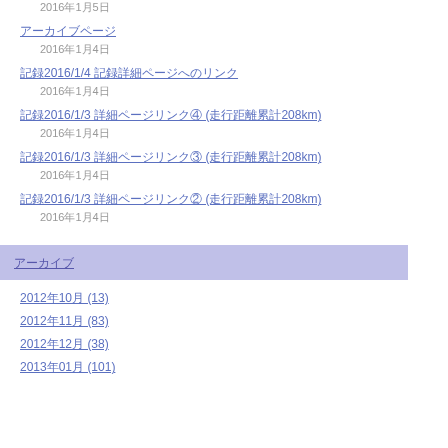2016年1月5日
アーカイブページ
2016年1月4日
記録2016/1/4 記録詳細ページへのリンク
2016年1月4日
記録2016/1/3 詳細ページリンク④ (走行距離累計208km)
2016年1月4日
記録2016/1/3 詳細ページリンク③ (走行距離累計208km)
2016年1月4日
記録2016/1/3 詳細ページリンク② (走行距離累計208km)
2016年1月4日
アーカイブ
2012年10月 (13)
2012年11月 (83)
2012年12月 (38)
2013年01月 (101)